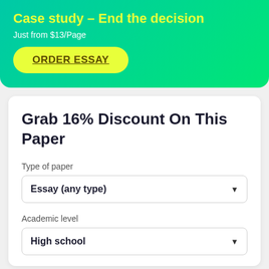Case study – End the decision
Just from $13/Page
ORDER ESSAY
Grab 16% Discount On This Paper
Type of paper
Essay (any type)
Academic level
High school